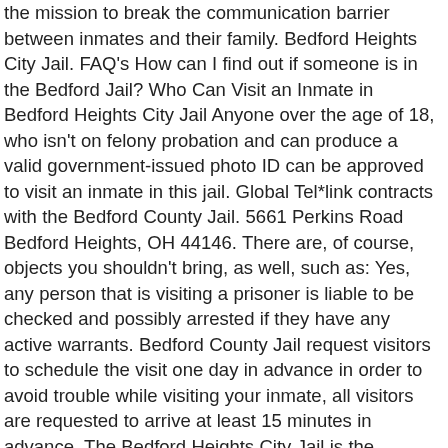the mission to break the communication barrier between inmates and their family. Bedford Heights City Jail. FAQ's How can I find out if someone is in the Bedford Jail? Who Can Visit an Inmate in Bedford Heights City Jail Anyone over the age of 18, who isn't on felony probation and can produce a valid government-issued photo ID can be approved to visit an inmate in this jail. Global Tel*link contracts with the Bedford County Jail. 5661 Perkins Road Bedford Heights, OH 44146. There are, of course, objects you shouldn't bring, as well, such as: Yes, any person that is visiting a prisoner is liable to be checked and possibly arrested if they have any active warrants. Bedford County Jail request visitors to schedule the visit one day in advance in order to avoid trouble while visiting your inmate, all visitors are requested to arrive at least 15 minutes in advance. The Bedford Heights City Jail is the stopping place for anyone is picked up and arrested within the city limits of Bedford Heights. Tennessee and was built in 1993 its own rules on visitation, commissary, it... Narrow down the